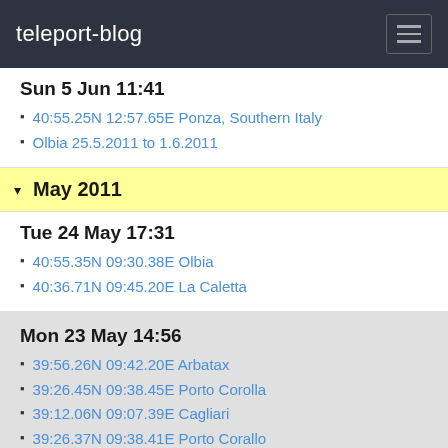teleport-blog
Sun 5 Jun 11:41
40:55.25N 12:57.65E Ponza, Southern Italy
Olbia 25.5.2011 to 1.6.2011
▾ May 2011
Tue 24 May 17:31
40:55.35N 09:30.38E Olbia
40:36.71N 09:45.20E La Caletta
Mon 23 May 14:56
39:56.26N 09:42.20E Arbatax
39:26.45N 09:38.45E Porto Corolla
39:12.06N 09:07.39E Cagliari
39:26.37N 09:38.41E Porto Corallo
39:56.27N 09:42.26E Arbatax
40:36.71N 09:45.20E La Caletta
Porto Torres 2nd May 2011
41:12.73N 09:24.27E La Maddalena Island
41:12.01N 09:16.46E Pozzo
40:54.79N 08:42.10E Castelsardo